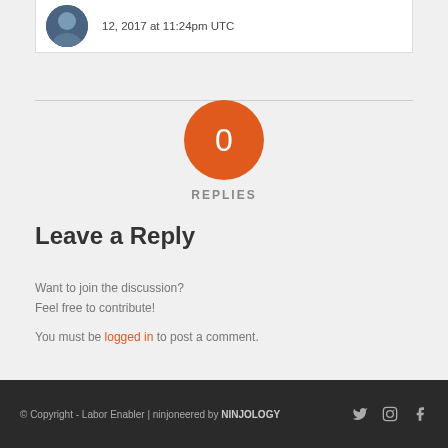12, 2017 at 11:24pm UTC
0 REPLIES
Leave a Reply
Want to join the discussion?
Feel free to contribute!
You must be logged in to post a comment.
© Copyright - Labor Enabler | ninjoneered by NINJOLOGY